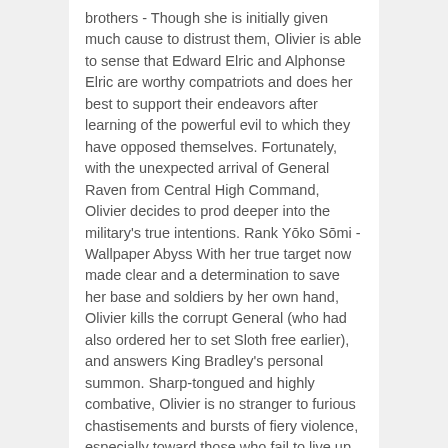brothers - Though she is initially given much cause to distrust them, Olivier is able to sense that Edward Elric and Alphonse Elric are worthy compatriots and does her best to support their endeavors after learning of the powerful evil to which they have opposed themselves. Fortunately, with the unexpected arrival of General Raven from Central High Command, Olivier decides to prod deeper into the military's true intentions. Rank Yōko Sōmi - Wallpaper Abyss With her true target now made clear and a determination to save her base and soldiers by her own hand, Olivier kills the corrupt General (who had also ordered her to set Sloth free earlier), and answers King Bradley's personal summon. Sharp-tongued and highly combative, Olivier is no stranger to furious chastisements and bursts of fiery violence, especially toward those who fail to live up to her high standards and staunch adherence to the "survival of the fitte… Fullmetal Alchemist: Brotherhood (2009 anime), Fullmetal Alchemist: Conqueror of Shamballa (2005), Fullmetal Alchemist: Sacred Star of Milos (2011), Fullmetal Alchemist the Movie: Conqueror of Shamballa, Fullmetal Alchemist: The Sacred Star of Milos, Fullmetal Alchemist 2: Curse of the Crimson Elixir, Fullmetal Alchemist 3: The Girl